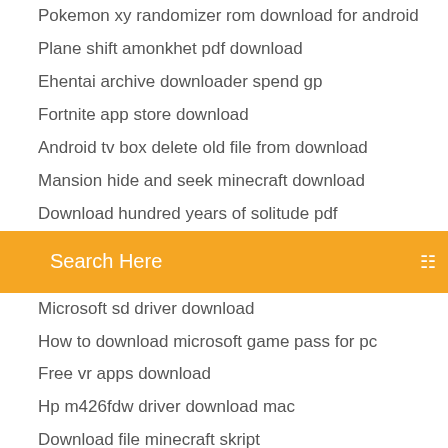Pokemon xy randomizer rom download for android
Plane shift amonkhet pdf download
Ehentai archive downloader spend gp
Fortnite app store download
Android tv box delete old file from download
Mansion hide and seek minecraft download
Download hundred years of solitude pdf
Search Here
Microsoft sd driver download
How to download microsoft game pass for pc
Free vr apps download
Hp m426fdw driver download mac
Download file minecraft skript
Twitch app network error while downloading
The definitive guide to free fonts pdf download
Can i download word on android phone
Cannot download apps from itunes
Reddit ubereats driver app how download